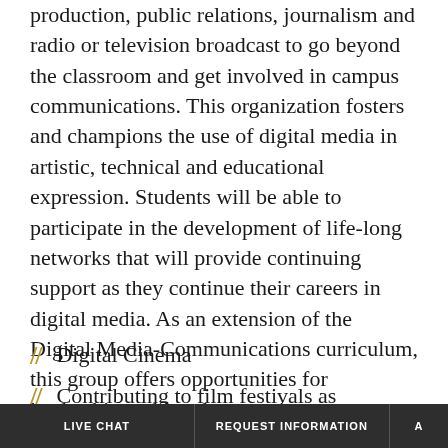production, public relations, journalism and radio or television broadcast to go beyond the classroom and get involved in campus communications. This organization fosters and champions the use of digital media in artistic, technical and educational expression. Students will be able to participate in the development of life-long networks that will provide continuing support as they continue their careers in digital media. As an extension of the Digital Media-Communications curriculum, this group offers opportunities for leadership and involvement in:
Digital Cinema
Contributing to film festivals as producer,
LIVE CHAT   REQUEST INFORMATION   A